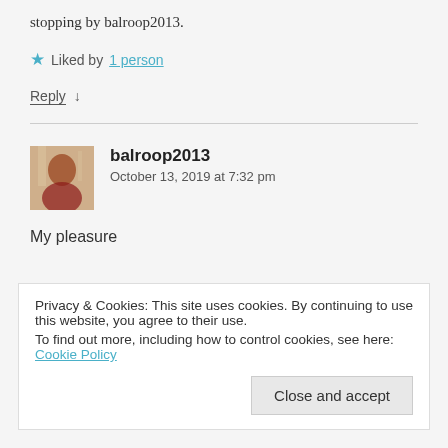stopping by balroop2013.
★ Liked by 1 person
Reply ↓
balroop2013
October 13, 2019 at 7:32 pm
My pleasure
Privacy & Cookies: This site uses cookies. By continuing to use this website, you agree to their use.
To find out more, including how to control cookies, see here: Cookie Policy
Close and accept